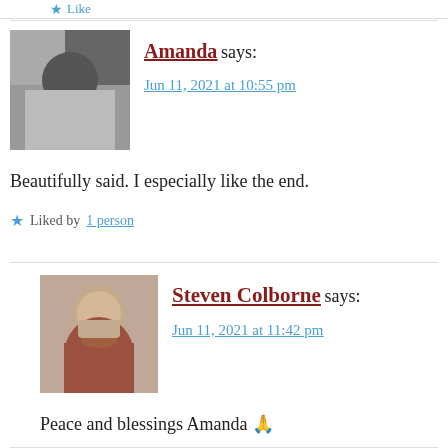Like
Amanda says:
Jun 11, 2021 at 10:55 pm
Beautifully said. I especially like the end.
Liked by 1 person
[Figure (photo): Profile photo of Steven Colborne, a bearded man in a dark red top]
Steven Colborne says:
Jun 11, 2021 at 11:42 pm
Peace and blessings Amanda 🙏
Like